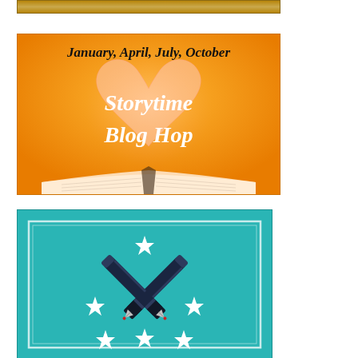[Figure (illustration): Brown/tan decorative banner strip at the top of the page]
[Figure (illustration): Storytime Blog Hop promotional image with orange background, open book forming a heart shape, and text reading 'January, April, July, October' at top, 'Storytime Blog Hop' in white italic script in center]
[Figure (illustration): Teal/turquoise promotional card with white inner border, crossed fountain pens forming an X shape in dark navy, surrounded by white stars at top, sides, and bottom]